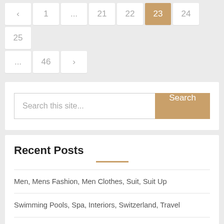[Figure (screenshot): Pagination navigation showing page buttons: <, 1, ..., 21, 22, 23 (active/highlighted), 24, 25 on first row and ..., 46, > on second row]
[Figure (screenshot): Search bar with placeholder text 'Search this site...' and a tan/gold Search button]
Recent Posts
Men, Mens Fashion, Men Clothes, Suit, Suit Up
Swimming Pools, Spa, Interiors, Switzerland, Travel
The London Nyc, Luxury, Usa, Travel, Boutique Hotels
Rolex Watch Sells for Record In